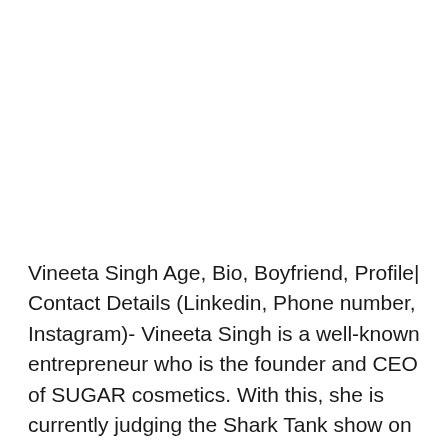Vineeta Singh Age, Bio, Boyfriend, Profile| Contact Details (Linkedin, Phone number, Instagram)- Vineeta Singh is a well-known entrepreneur who is the founder and CEO of SUGAR cosmetics. With this, she is currently judging the Shark Tank show on Sony Entertainment Television, which is the Indian reality show inspired by an American